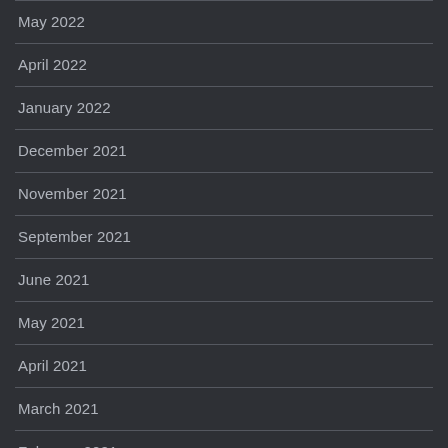May 2022
April 2022
January 2022
December 2021
November 2021
September 2021
June 2021
May 2021
April 2021
March 2021
February 2021